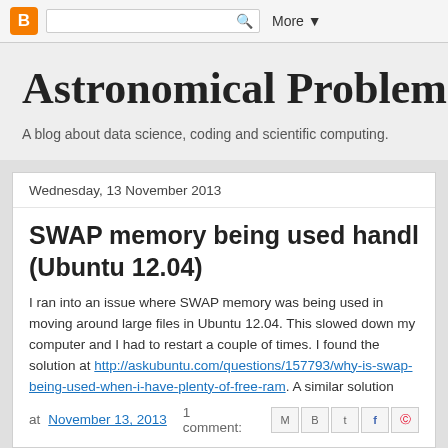Blogger | More ▾
Astronomical Problems
A blog about data science, coding and scientific computing.
Wednesday, 13 November 2013
SWAP memory being used handling large files (Ubuntu 12.04)
I ran into an issue where SWAP memory was being used in moving around large files in Ubuntu 12.04. This slowed down my computer and I had to restart a couple of times. I found the solution at http://askubuntu.com/questions/157793/why-is-swap-being-used-even-though-i-have-plenty-of-free-ram. A similar solution probably works for other distributions.
at November 13, 2013  1 comment: